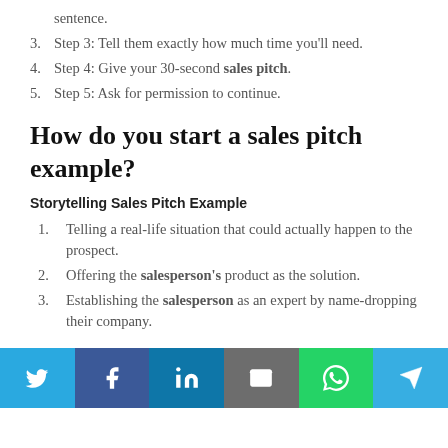sentence.
Step 3: Tell them exactly how much time you'll need.
Step 4: Give your 30-second sales pitch.
Step 5: Ask for permission to continue.
How do you start a sales pitch example?
Storytelling Sales Pitch Example
Telling a real-life situation that could actually happen to the prospect.
Offering the salesperson's product as the solution.
Establishing the salesperson as an expert by name-dropping their company.
[Figure (other): Social sharing buttons row: Twitter, Facebook, LinkedIn, Email, WhatsApp, Telegram]